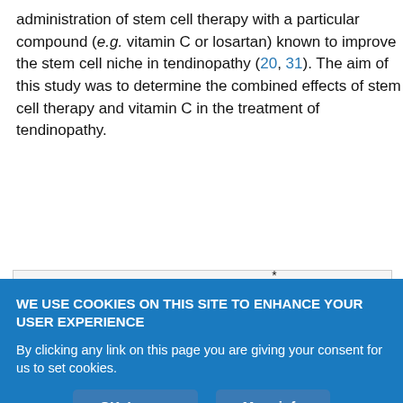administration of stem cell therapy with a particular compound (e.g. vitamin C or losartan) known to improve the stem cell niche in tendinopathy (20, 31). The aim of this study was to determine the combined effects of stem cell therapy and vitamin C in the treatment of tendinopathy.
[Figure (bar-chart): Partial bar chart visible, showing y-axis values 30, 40, 50, with significance brackets marked with asterisks (*). One dark bar visible on the right side of the chart reaching approximately 35 units.]
WE USE COOKIES ON THIS SITE TO ENHANCE YOUR USER EXPERIENCE
By clicking any link on this page you are giving your consent for us to set cookies.